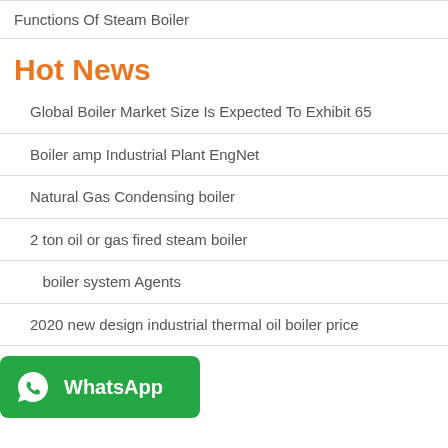Functions Of Steam Boiler
Hot News
Global Boiler Market Size Is Expected To Exhibit 65
Boiler amp Industrial Plant EngNet
Natural Gas Condensing boiler
2 ton oil or gas fired steam boiler
boiler system Agents
2020 new design industrial thermal oil boiler price
[Figure (logo): WhatsApp button with green background, phone icon and WhatsApp text]